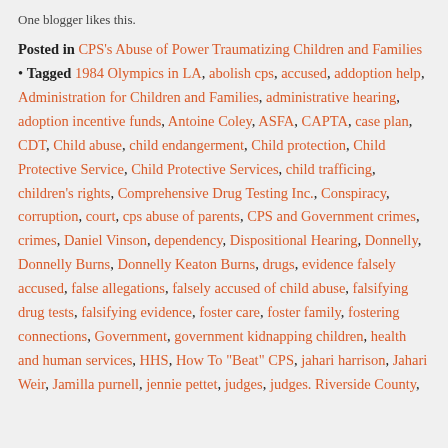One blogger likes this.
Posted in CPS's Abuse of Power Traumatizing Children and Families • Tagged 1984 Olympics in LA, abolish cps, accused, addoption help, Administration for Children and Families, administrative hearing, adoption incentive funds, Antoine Coley, ASFA, CAPTA, case plan, CDT, Child abuse, child endangerment, Child protection, Child Protective Service, Child Protective Services, child trafficing, children's rights, Comprehensive Drug Testing Inc., Conspiracy, corruption, court, cps abuse of parents, CPS and Government crimes, crimes, Daniel Vinson, dependency, Dispositional Hearing, Donnelly, Donnelly Burns, Donnelly Keaton Burns, drugs, evidence falsely accused, false allegations, falsely accused of child abuse, falsifying drug tests, falsifying evidence, foster care, foster family, fostering connections, Government, government kidnapping children, health and human services, HHS, How To "Beat" CPS, jahari harrison, Jahari Weir, Jamilla purnell, jennie pettet, judges, judges. Riverside County,